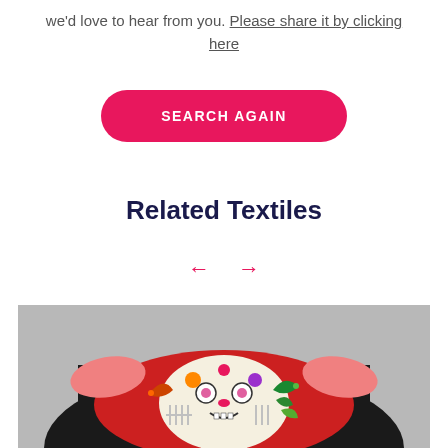we'd love to hear from you. Please share it by clicking here
SEARCH AGAIN
Related Textiles
[Figure (other): Navigation arrows (left and right) in pink/red color for carousel]
[Figure (photo): A colorful textile/garment featuring a decorative embroidered or appliqued design with a skull and bird motifs in red, black, pink, orange, green, and white colors on a gray background]